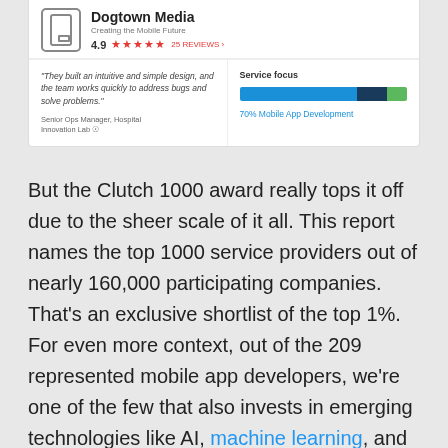[Figure (screenshot): Clutch review card for Dogtown Media showing 4.9 rating with 5 stars, 25 reviews, a client quote about intuitive design, and a service focus bar chart showing 70% Mobile App Development.]
But the Clutch 1000 award really tops it off due to the sheer scale of it all. This report names the top 1000 service providers out of nearly 160,000 participating companies. That's an exclusive shortlist of the top 1%. For even more context, out of the 209 represented mobile app developers, we're one of the few that also invests in emerging technologies like AI, machine learning, and IoT.